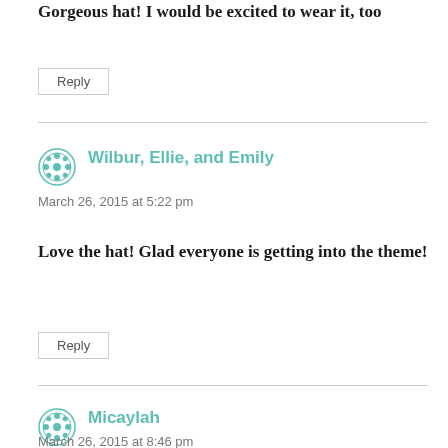Gorgeous hat! I would be excited to wear it, too
Reply
Wilbur, Ellie, and Emily
March 26, 2015 at 5:22 pm
Love the hat! Glad everyone is getting into the theme!
Reply
Micaylah
March 26, 2015 at 8:46 pm